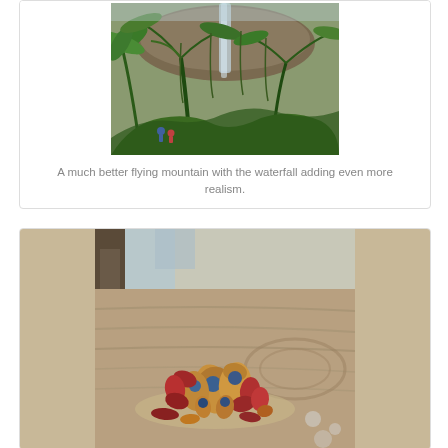[Figure (photo): A flying mountain with lush green tropical ferns and palm trees, with a waterfall visible. People can be seen in the lower left area. Scene from Pandora at Disney's Animal Kingdom.]
A much better flying mountain with the waterfall adding even more realism.
[Figure (photo): Close-up of alien-looking exotic plants or seed pods with red and orange coloring, placed on a large textured tree trunk/rock surface. Scene from Pandora at Disney's Animal Kingdom.]